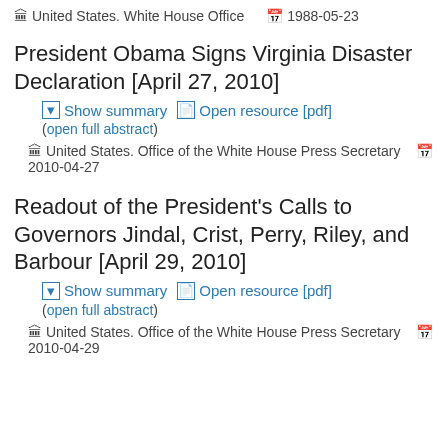🏛 United States. White House Office   📅 1988-05-23
President Obama Signs Virginia Disaster Declaration [April 27, 2010]
▣ Show summary   📄 Open resource [pdf]  (open full abstract)
🏛 United States. Office of the White House Press Secretary   📅 2010-04-27
Readout of the President's Calls to Governors Jindal, Crist, Perry, Riley, and Barbour [April 29, 2010]
▣ Show summary   📄 Open resource [pdf]  (open full abstract)
🏛 United States. Office of the White House Press Secretary   📅 2010-04-29